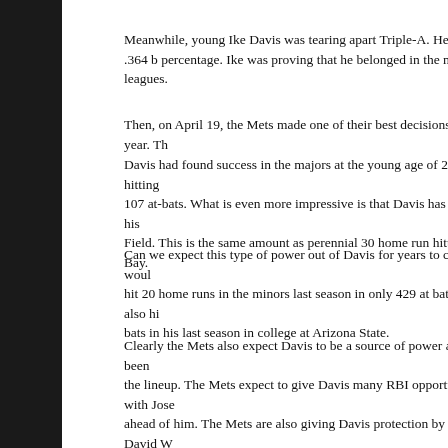Meanwhile, young Ike Davis was tearing apart Triple-A. He posted a .364 batting average and a .500 on-base percentage. Ike was proving that he belonged in the major leagues.
Then, on April 19, the Mets made one of their best decisions of the year. Th...
Davis had found success in the majors at the young age of 23. He is hitting ... 107 at-bats. What is even more impressive is that Davis has hit three of his ... Field. This is the same amount as perennial 30 home run hitter Jason Bay.
Can we expect this type of power out of Davis for years to come? One woul... hit 20 home runs in the minors last season in only 429 at bats. Davis also hi... bats in his last season in college at Arizona State.
Clearly the Mets also expect Davis to be a source of power as he has been ... the lineup. The Mets expect to give Davis many RBI opportunities with Jose... ahead of him. The Mets are also giving Davis protection by slotting David W... batting order.
The Mets have given Ike a tremendous vote of confidence by making this m... they believe he will be one of their main run producers now and in the future... improve Ike's game.
I know that it is a small sample size, but Davis is hitting .368 in 19 at bats fro... also scored five runs from the four hole. While he cannot be expected to ma... course of a full season, it would not be surprising to see him hit over .300 c... him in the lineup.
Davis appears to have joined the core of the Mets. He can be mentioned an...